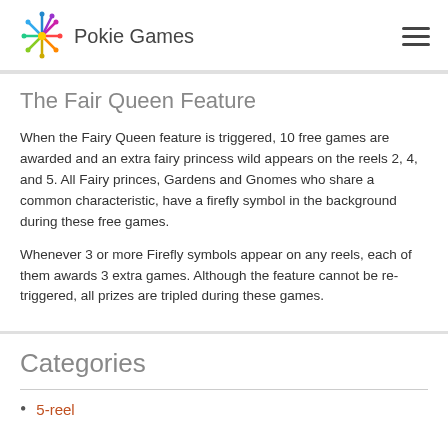Pokie Games
The Fair Queen Feature
When the Fairy Queen feature is triggered, 10 free games are awarded and an extra fairy princess wild appears on the reels 2, 4, and 5. All Fairy princes, Gardens and Gnomes who share a common characteristic, have a firefly symbol in the background during these free games.
Whenever 3 or more Firefly symbols appear on any reels, each of them awards 3 extra games. Although the feature cannot be re-triggered, all prizes are tripled during these games.
Categories
5-reel